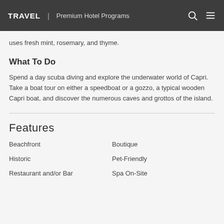TRAVEL | Premium Hotel Programs
uses fresh mint, rosemary, and thyme.
What To Do
Spend a day scuba diving and explore the underwater world of Capri. Take a boat tour on either a speedboat or a gozzo, a typical wooden Capri boat, and discover the numerous caves and grottos of the island.
Features
Beachfront
Boutique
Historic
Pet-Friendly
Restaurant and/or Bar
Spa On-Site